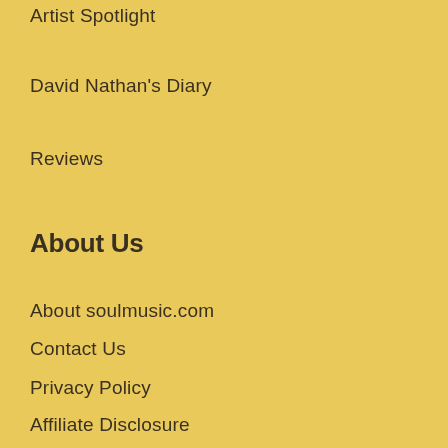Artist Spotlight
David Nathan's Diary
Reviews
About Us
About soulmusic.com
Contact Us
Privacy Policy
Affiliate Disclosure